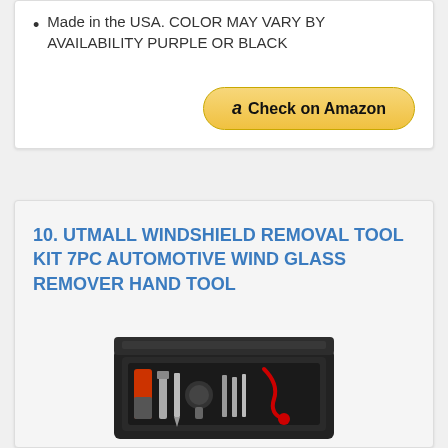Made in the USA. COLOR MAY VARY BY AVAILABILITY PURPLE OR BLACK
[Figure (other): Check on Amazon button with Amazon logo]
10. UTMALL WINDSHIELD REMOVAL TOOL KIT 7PC AUTOMOTIVE WIND GLASS REMOVER HAND TOOL
[Figure (photo): Photo of windshield removal tool kit 7pc in a black carrying case with orange and silver tools]